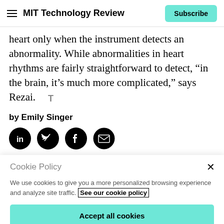MIT Technology Review | Subscribe
heart only when the instrument detects an abnormality. While abnormalities in heart rhythms are fairly straightforward to detect, “in the brain, it’s much more complicated,” says Rezai.
by Emily Singer
[Figure (other): Social sharing icons: LinkedIn, Twitter, Facebook, Email]
Cookie Policy
We use cookies to give you a more personalized browsing experience and analyze site traffic. See our cookie policy
Accept all cookies
Cookies settings